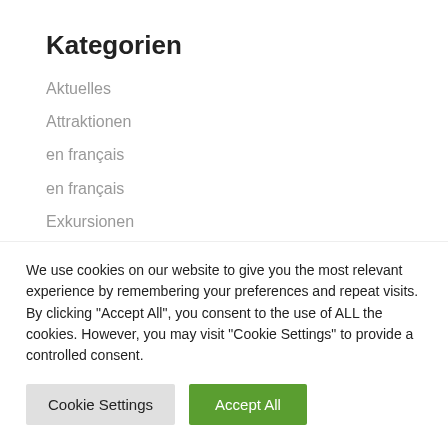Kategorien
Aktuelles
Attraktionen
en français
en français
Exkursionen
Führungen
in English
We use cookies on our website to give you the most relevant experience by remembering your preferences and repeat visits. By clicking "Accept All", you consent to the use of ALL the cookies. However, you may visit "Cookie Settings" to provide a controlled consent.
Cookie Settings | Accept All